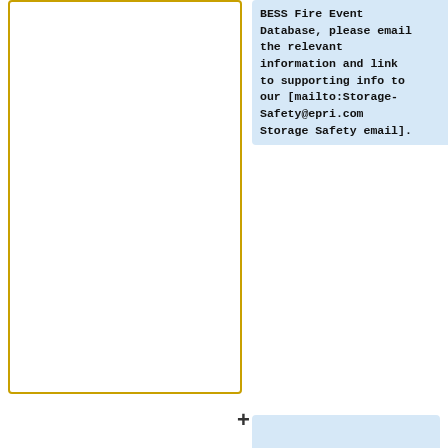[Figure (other): Empty white box with yellow/gold border on the left side of the page]
BESS Fire Event Database, please email the relevant information and link to supporting info to our [mailto:Storage-Safety@epri.com Storage Safety email].
If you would like to be notified when a new event is added to this database or are interested in other EPRI energy storage safety research resources and opportunities please reach out to our [mailto:Storage-